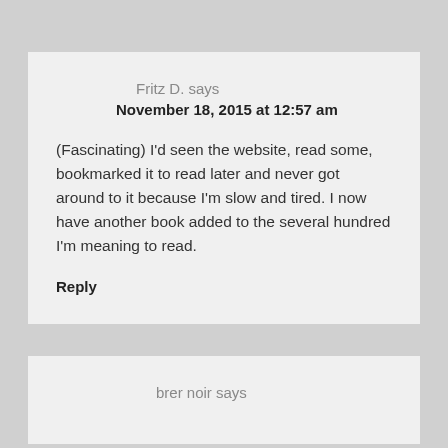Fritz D. says
November 18, 2015 at 12:57 am
(Fascinating) I'd seen the website, read some, bookmarked it to read later and never got around to it because I'm slow and tired. I now have another book added to the several hundred I'm meaning to read.
Reply
brer noir says